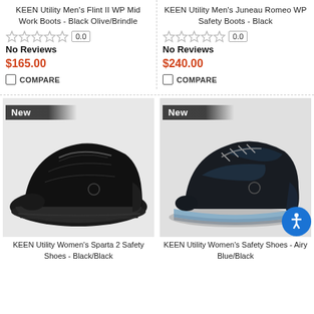KEEN Utility Men's Flint II WP Mid Work Boots - Black Olive/Brindle
0.0
No Reviews
$165.00
COMPARE
KEEN Utility Men's Juneau Romeo WP Safety Boots - Black
0.0
No Reviews
$240.00
COMPARE
[Figure (photo): KEEN Utility Women's Sparta 2 Safety Shoes - Black/Black athletic shoe, black colorway, with New badge]
KEEN Utility Women's Sparta 2 Safety Shoes - Black/Black
[Figure (photo): KEEN Utility Women's Safety Shoes - Airy Blue/Black athletic shoe with blue accent sole, with New badge]
KEEN Utility Women's Safety Shoes - Airy Blue/Black